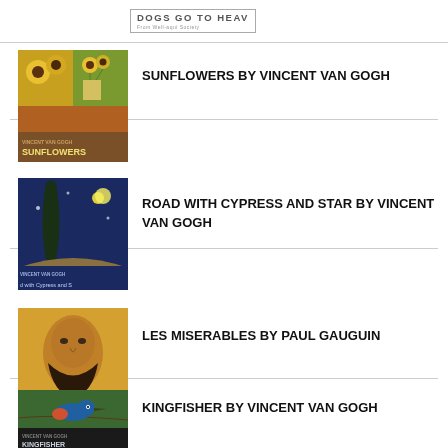[Figure (logo): Dogs Go To Heaven book logo with small subtitle text]
[Figure (photo): Book cover: Sunflowers by Vincent Van Gogh - shows sunflowers painting with title at bottom]
SUNFLOWERS BY VINCENT VAN GOGH
[Figure (photo): Book cover: Road with Cypress and Star by Vincent Van Gogh - dark cypress tree against starry sky]
ROAD WITH CYPRESS AND STAR BY VINCENT VAN GOGH
[Figure (photo): Book cover: Les Miserables by Paul Gauguin - portrait on gold/yellow background]
LES MISERABLES BY PAUL GAUGUIN
[Figure (photo): Book cover: Kingfisher by Vincent Van Gogh - kingfisher bird on branch]
KINGFISHER BY VINCENT VAN GOGH